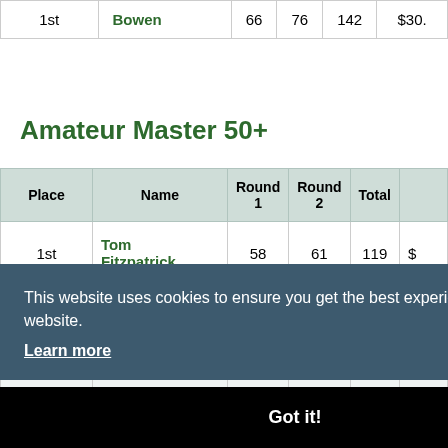| Place | Name | Round 1 | Round 2 | Total | W |
| --- | --- | --- | --- | --- | --- |
| 1st | Bowen | 66 | 76 | 142 | $30. |
Amateur Master 50+
| Place | Name | Round 1 | Round 2 | Total | W |
| --- | --- | --- | --- | --- | --- |
| 1st | Tom Fitzpatrick | 58 | 61 | 119 | $ |
|  |  |  |  | 21 | $ |
|  |  |  |  | 26 | $ |
|  | Rivers |  |  | 30 | $ |
This website uses cookies to ensure you get the best experience on our website. Learn more
Got it!